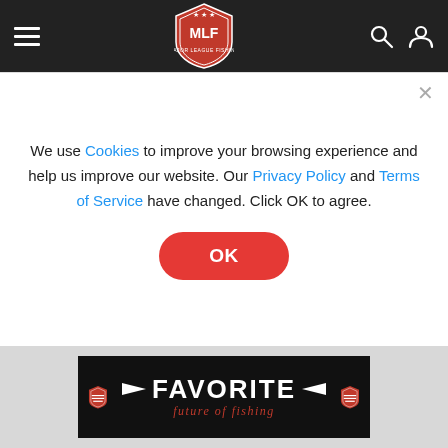MLF Major League Fishing navigation bar
$326
8th: Colsyn Head, Poland, Ind., two bass, 2-13, $294
9th: George Powell, Columbia City, Ind., one bass, 2-11, $504
9th: Andrew Woodall, Nashville, Ind., two bass, 2-11, $244
Powell caught the largest bass in the Co-angler Division, a
We use Cookies to improve your browsing experience and help us improve our website. Our Privacy Policy and Terms of Service have changed. Click OK to agree.
[Figure (logo): Favorite Fishing logo — black background with red shield icons and white FAVORITE text with 'future of fishing' tagline in red italic]